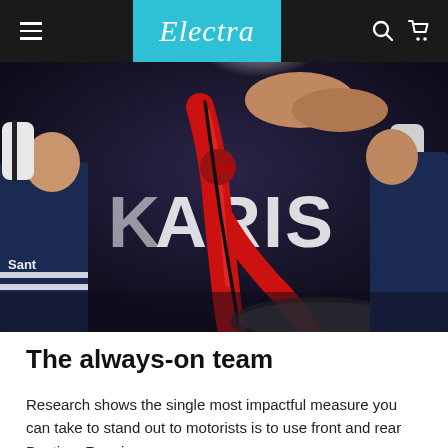Electra
[Figure (photo): Close-up photo of a red Trek bicycle frame being held by a cyclist in a dark blue Santini jersey. The bicycle handlebar and stem are visible at the top, with the red carbon fork and front wheel in the foreground. In the background, white text reading 'PARIS' is partially visible on a dark backdrop.]
The always-on team
Research shows the single most impactful measure you can take to stand out to motorists is to use front and rear Daytime Running